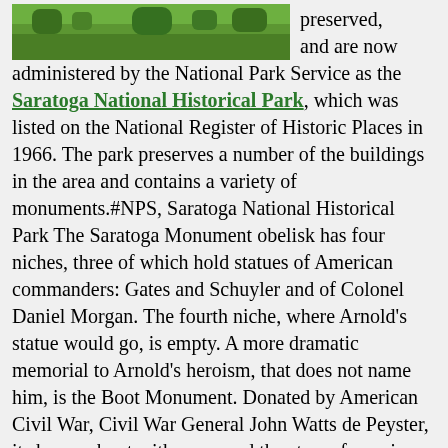[Figure (photo): Partial view of a green landscape/field photograph at the top of the page]
preserved, and are now administered by the National Park Service as the Saratoga National Historical Park, which was listed on the National Register of Historic Places in 1966. The park preserves a number of the buildings in the area and contains a variety of monuments.#NPS, Saratoga National Historical Park The Saratoga Monument obelisk has four niches, three of which hold statues of American commanders: Gates and Schuyler and of Colonel Daniel Morgan. The fourth niche, where Arnold's statue would go, is empty. A more dramatic memorial to Arnold's heroism, that does not name him, is the Boot Monument. Donated by American Civil War, Civil War General John Watts de Peyster, it shows a boot with spurs and the stars of a major general. It stands at the spot where Arnold was shot on October 7 charging Breymann's redoubt and is dedicated to "the most brilliant soldier of the Continental Army".#NPSBoot, Saratoga National Historical Park Tour Stop 7 Six Army National Guard units (101st Eng Bn, 102nd Inf, 125th QM Co, 181st Inf, 182nd Inf and 192nd MP Bn) are derived from American units that participated in the Battle of Saratoga. There are now only thirty units in the U.S. Army with Army National